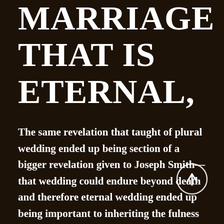MARRIAGE THAT IS ETERNAL,
The same revelation that taught of plural wedding ended up being section of a bigger revelation given to Joseph Smith—that wedding could endure beyond death and therefore eternal wedding ended up being important to inheriting the fulness that God desires for His children. So Joseph Smith
[Figure (other): Circular scroll-up navigation button with upward arrow icon, white circle outline on dark background]